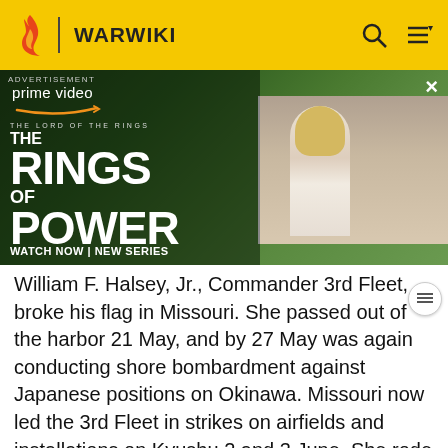WARWIKI
[Figure (photo): Amazon Prime Video advertisement for 'The Lord of the Rings: The Rings of Power' showing two actors in a fantasy landscape setting on the left, and a blonde woman with others in white robes on the right thumbnail. Text reads: ADVERTISEMENT, prime video, THE LORD OF THE RINGS, THE RINGS OF POWER, WATCH NOW | NEW SERIES]
William F. Halsey, Jr., Commander 3rd Fleet, broke his flag in Missouri. She passed out of the harbor 21 May, and by 27 May was again conducting shore bombardment against Japanese positions on Okinawa. Missouri now led the 3rd Fleet in strikes on airfields and installations on Kyushu 2 and 3 June. She rode out a fierce storm 5 and 6 June that wrenched off the bow of cruiser Pittsburgh. Some topside fittings were smashed, but Missouri suffered no major damage. Her fleet again struck Kyushu